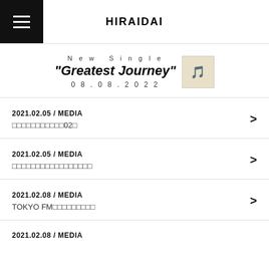HIRAIDAI
New Single "Greatest Journey" 08.08.2022
2021.02.05 / MEDIA
□□□□□□□□□□□02□
2021.02.05 / MEDIA
□□□□□□□□□□□□□□□□□
2021.02.08 / MEDIA
TOKYO FM□□□□□□□□□
2021.02.08 / MEDIA